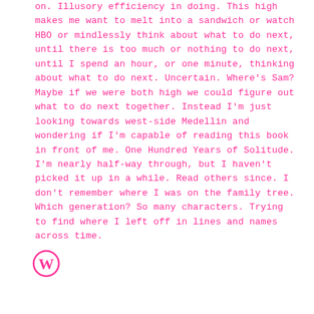on. Illusory efficiency in doing. This high makes me want to melt into a sandwich or watch HBO or mindlessly think about what to do next, until there is too much or nothing to do next, until I spend an hour, or one minute, thinking about what to do next. Uncertain. Where's Sam? Maybe if we were both high we could figure out what to do next together. Instead I'm just looking towards west-side Medellin and wondering if I'm capable of reading this book in front of me. One Hundred Years of Solitude. I'm nearly half-way through, but I haven't picked it up in a while. Read others since. I don't remember where I was on the family tree. Which generation? So many characters. Trying to find where I left off in lines and names across time.
[Figure (logo): WordPress logo (circular W symbol) in pink/magenta color]